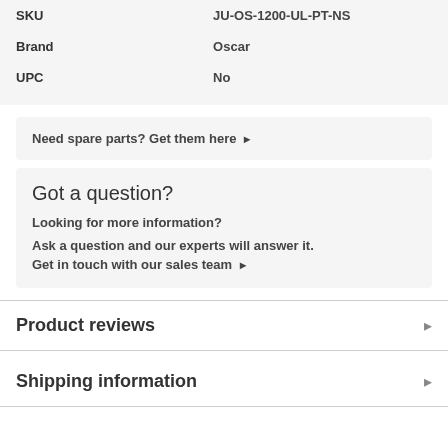| SKU | JU-OS-1200-UL-PT-NS |
| Brand | Oscar |
| UPC | No |
Need spare parts? Get them here →
Got a question?
Looking for more information?
Ask a question and our experts will answer it.
Get in touch with our sales team →
Product reviews
Shipping information